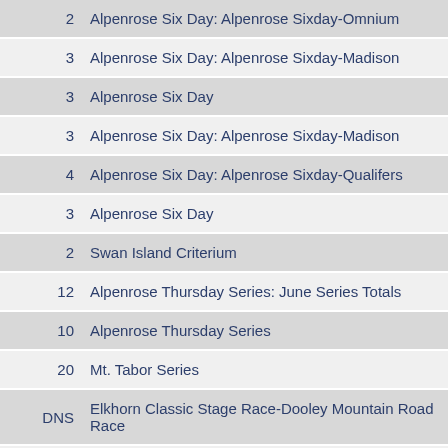| # | Event |
| --- | --- |
| 2 | Alpenrose Six Day: Alpenrose Sixday-Omnium |
| 3 | Alpenrose Six Day: Alpenrose Sixday-Madison |
| 3 | Alpenrose Six Day |
| 3 | Alpenrose Six Day: Alpenrose Sixday-Madison |
| 4 | Alpenrose Six Day: Alpenrose Sixday-Qualifers |
| 3 | Alpenrose Six Day |
| 2 | Swan Island Criterium |
| 12 | Alpenrose Thursday Series: June Series Totals |
| 10 | Alpenrose Thursday Series |
| 20 | Mt. Tabor Series |
| DNS | Elkhorn Classic Stage Race-Dooley Mountain Road Race |
| 141 | Elkhorn Classic Stage Race-Pleasant Valley ITT: Combined |